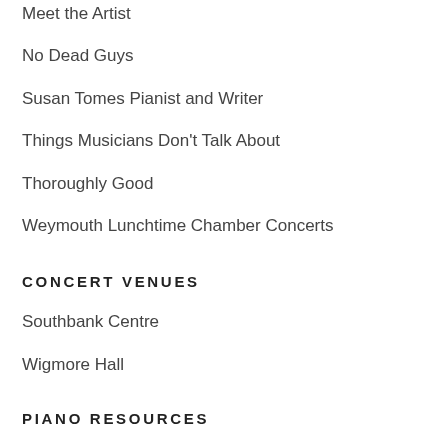Meet the Artist
No Dead Guys
Susan Tomes Pianist and Writer
Things Musicians Don't Talk About
Thoroughly Good
Weymouth Lunchtime Chamber Concerts
CONCERT VENUES
Southbank Centre
Wigmore Hall
PIANO RESOURCES